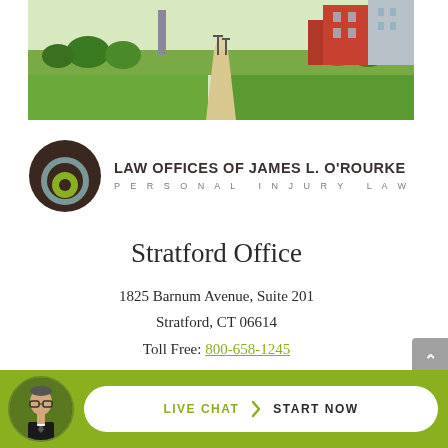[Figure (photo): Aerial/street-level photo of a civic building with green lawn, walkway path, and trees in the background]
[Figure (logo): Law Offices of James L. O'Rourke logo — circular concentric ring icon in brown, teal, and green next to firm name text]
Stratford Office
1825 Barnum Avenue, Suite 201
Stratford, CT 06614
Toll Free: 800-658-1245
Phone: 203-864-4427
[Figure (infographic): Live Chat – Start Now button bar with attorney avatar photo, on green background]